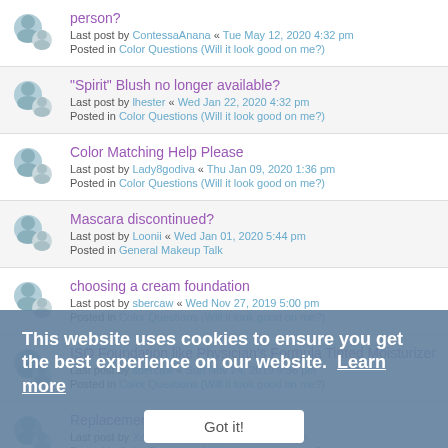person? Last post by ContessaAnana « Tue May 12, 2020 4:32 pm Posted in Color Questions (Will it look good on me?)
"Spirit" Blush no longer available? Last post by lhester « Wed Jan 22, 2020 4:32 pm Posted in Color Questions (Will it look good on me?)
Color Matching Help Please Last post by Lady8godiva « Thu Jan 09, 2020 1:36 pm Posted in Color Questions (Will it look good on me?)
Mascara discontinued? Last post by Loonii « Wed Jan 01, 2020 5:44 pm Posted in General Makeup Talk
choosing a cream foundation Last post by sbercaw « Wed Nov 27, 2019 5:00 pm Posted in Color Questions (Will it look good on me?)
ISO Foundation like Physician's Formula Tinted Moisturizer Last post by sbercaw « Sun Nov 24, 2019 9:56 pm Posted in Color Questions (Will it look good on me?)
Replacement for Milan Blush Last post by Xarata « Thu Nov 21, 2019 1:55 pm Posted in Color Questions (Will it look good on me?)
This website uses cookies to ensure you get the best experience on our website. Learn more
Got it!